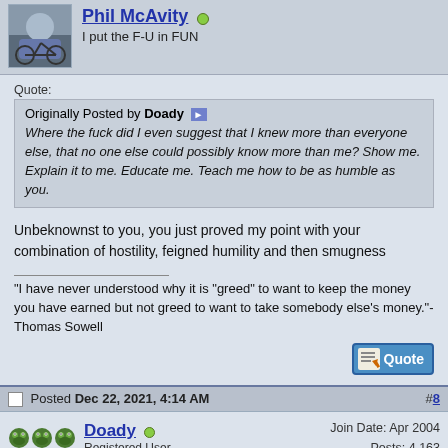Phil McAvity — I put the F-U in FUN
Originally Posted by Doady
Where the fuck did I even suggest that I knew more than everyone else, that no one else could possibly know more than me? Show me. Explain it to me. Educate me. Teach me how to be as humble as you.
Unbeknownst to you, you just proved my point with your combination of hostility, feigned humility and then smugness
"I have never understood why it is "greed" to want to keep the money you have earned but not greed to want to take somebody else's money."-Thomas Sowell
Posted Dec 22, 2021, 4:14 AM #8
Doady — Registered User
Join Date: Apr 2004
Posts: 4,163